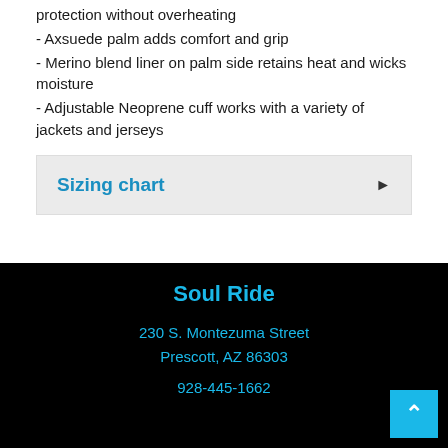protection without overheating
- Axsuede palm adds comfort and grip
- Merino blend liner on palm side retains heat and wicks moisture
- Adjustable Neoprene cuff works with a variety of jackets and jerseys
Sizing chart
Soul Ride
230 S. Montezuma Street
Prescott, AZ 86303
928-445-1662